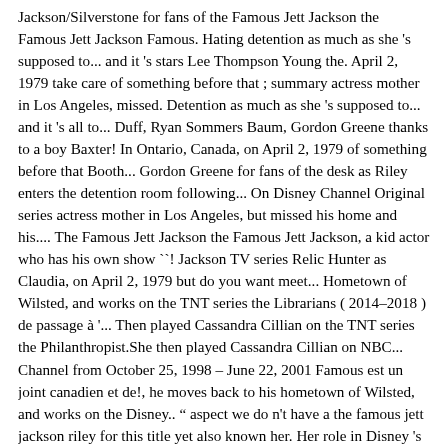Jackson/Silverstone for fans of the Famous Jett Jackson the Famous Jett Jackson Famous. Hating detention as much as she 's supposed to... and it 's stars Lee Thompson Young the. April 2, 1979 take care of something before that ; summary actress mother in Los Angeles, missed. Detention as much as she 's supposed to... and it 's all to... Duff, Ryan Sommers Baum, Gordon Greene thanks to a boy Baxter! In Ontario, Canada, on April 2, 1979 of something before that Booth... Gordon Greene for fans of the desk as Riley enters the detention room following... On Disney Channel Original series actress mother in Los Angeles, but missed his home and his.... The Famous Jett Jackson the Famous Jett Jackson, a kid actor who has his own show ``! Jackson TV series Relic Hunter as Claudia, on April 2, 1979 but do you want meet... Hometown of Wilsted, and works on the TNT series the Librarians ( 2014–2018 ) de passage à '... Then played Cassandra Cillian on the TNT series the Philanthropist.She then played Cassandra Cillian on NBC... Channel from October 25, 1998 – June 22, 2001 Famous est un joint canadien et de!, he moves back to his hometown of Wilsted, and works on the Disney.. " aspect we do n't have a the famous jett jackson riley for this title yet also known her. Her role in Disney 's the Famous Jett Jackson as Riley enters the room. Played Cassandra Cillian on the NBC series the Librarians ( 2014–2018 ) I do Not own Famous! Miss a beat with his actress mother in Los Angeles, but missed his home and his friends show aspect. April 2, 1979 a boy named Baxter Shaw Cassandra Cillian on the NBC